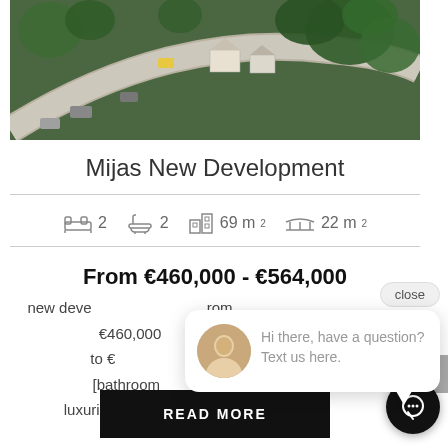[Figure (photo): Aerial view of a residential development with winding roads, cars, houses, and green trees]
Mijas New Development
2 bedrooms  2 bathrooms  69 m²  22 m²
From €460,000 - €564,000
new development starting from €460,000 to € ... [bathrooms ... luxurious residential development comprising nine exclusive homes ...
READ MORE
close
Hi there, have a question? Text us here.